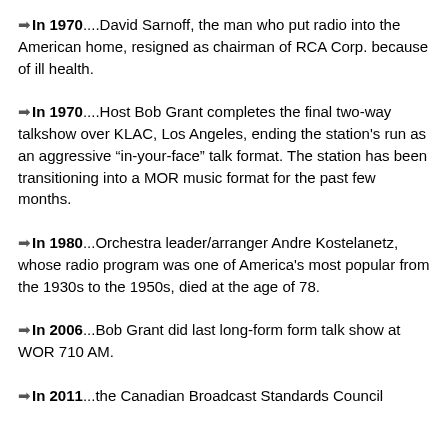➡In 1970....David Sarnoff, the man who put radio into the American home, resigned as chairman of RCA Corp. because of ill health.
➡In 1970....Host Bob Grant completes the final two-way talkshow over KLAC, Los Angeles, ending the station's run as an aggressive “in-your-face” talk format. The station has been transitioning into a MOR music format for the past few months.
➡In 1980...Orchestra leader/arranger Andre Kostelanetz, whose radio program was one of America's most popular from the 1930s to the 1950s, died at the age of 78.
➡In 2006...Bob Grant did last long-form form talk show at WOR 710 AM.
➡In 2011...the Canadian Broadcast Standards Council